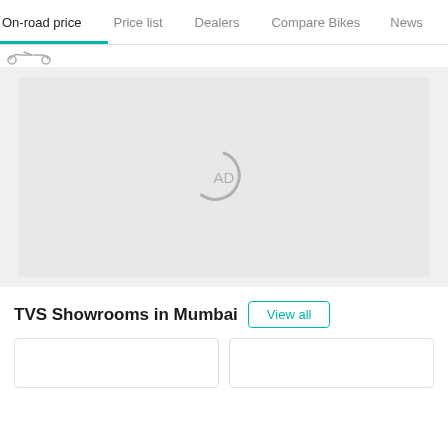On-road price | Price list | Dealers | Compare Bikes | News
[Figure (screenshot): Advertisement placeholder box with AD loading spinner icon in center, on light gray background]
TVS Showrooms in Mumbai
View all
Card content (partial, clipped)